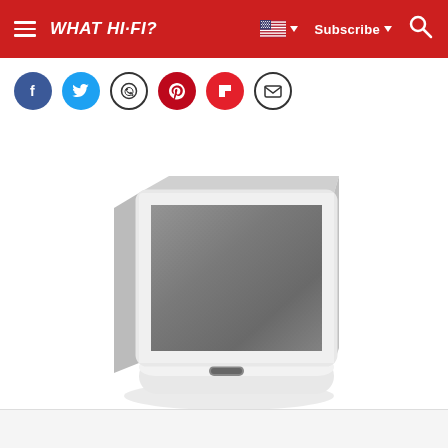WHAT HI-FI? — Subscribe | Search
[Figure (other): Social sharing icon buttons: Facebook, Twitter, WhatsApp, Pinterest, Flipboard, Email]
[Figure (photo): A white wireless speaker (Sonos Play:5 or similar) with a grey fabric grille, rectangular shape with curved corners, seen from a slight angle, on a white base/stand with a small indicator light on the front, photographed against a white background.]